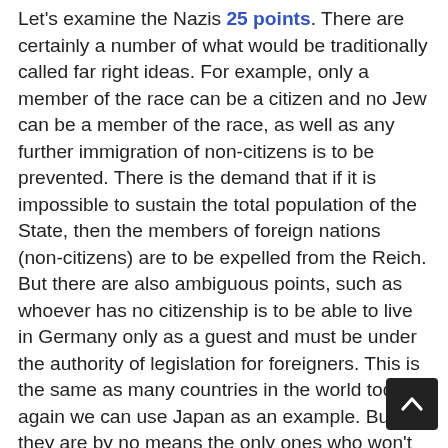Let's examine the Nazis 25 points. There are certainly a number of what would be traditionally called far right ideas. For example, only a member of the race can be a citizen and no Jew can be a member of the race, as well as any further immigration of non-citizens is to be prevented. There is the demand that if it is impossible to sustain the total population of the State, then the members of foreign nations (non-citizens) are to be expelled from the Reich. But there are also ambiguous points, such as whoever has no citizenship is to be able to live in Germany only as a guest and must be under the authority of legislation for foreigners. This is the same as many countries in the world today, again we can use Japan as an example. But they are by no means the only ones who won't let non-citizens remain permanently. There is the demand land and territory (colonies) for the sustenance of people and colonisation for surplus populations. This was common practice at the time, with both Britain and France having colonial empires. There is a demand for national self determination. This was written in to the post war trea[ties] for all other nations except Germany, and was a source of aggravation. So are these ideas far right?